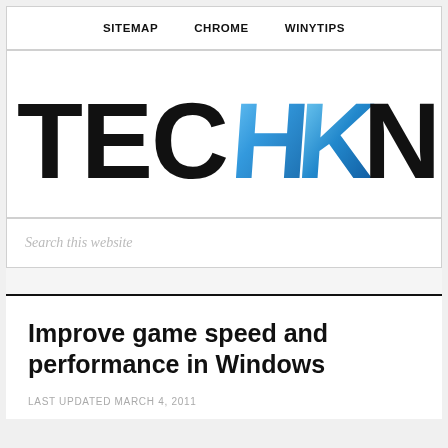SITEMAP   CHROME   WINYTIPS
[Figure (logo): TechKnowl website logo — 'TECHKNOWL' text with stylized blue HK letters in the center, with a registered trademark symbol]
Search this website
Improve game speed and performance in Windows
LAST UPDATED MARCH 4, 2011